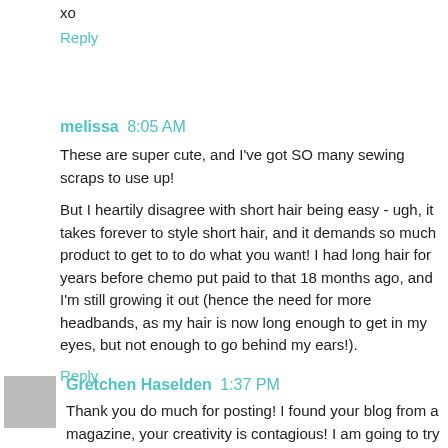xo
Reply
melissa 8:05 AM
These are super cute, and I've got SO many sewing scraps to use up!
But I heartily disagree with short hair being easy - ugh, it takes forever to style short hair, and it demands so much product to get to to do what you want! I had long hair for years before chemo put paid to that 18 months ago, and I'm still growing it out (hence the need for more headbands, as my hair is now long enough to get in my eyes, but not enough to go behind my ears!).
Reply
Gretchen Haselden 1:37 PM
Thank you do much for posting! I found your blog from a magazine, your creativity is contagious! I am going to try